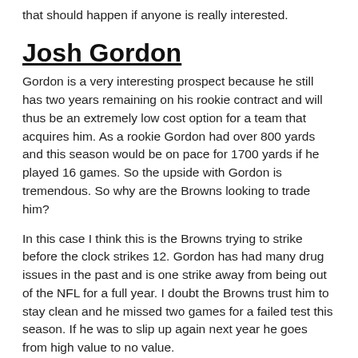that should happen if anyone is really interested.
Josh Gordon
Gordon is a very interesting prospect because he still has two years remaining on his rookie contract and will thus be an extremely low cost option for a team that acquires him. As a rookie Gordon had over 800 yards and this season would be on pace for 1700 yards if he played 16 games. So the upside with Gordon is tremendous. So why are the Browns looking to trade him?
In this case I think this is the Browns trying to strike before the clock strikes 12. Gordon has had many drug issues in the past and is one strike away from being out of the NFL for a full year. I doubt the Browns trust him to stay clean and he missed two games for a failed test this season. If he was to slip up again next year he goes from high value to no value.
The Browns are said to be seeking a first round pick for Gordon. It is pretty much impossible to find a comparable player because